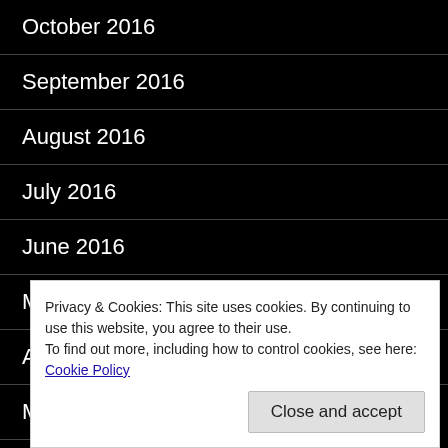October 2016
September 2016
August 2016
July 2016
June 2016
May 2016
April 2016
March 2016
February 2016
Privacy & Cookies: This site uses cookies. By continuing to use this website, you agree to their use.
To find out more, including how to control cookies, see here: Cookie Policy
Close and accept